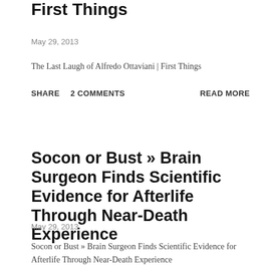First Things
May 29, 2013
The Last Laugh of Alfredo Ottaviani | First Things
SHARE   2 COMMENTS   READ MORE
Socon or Bust » Brain Surgeon Finds Scientific Evidence for Afterlife Through Near-Death Experience
May 29, 2013
Socon or Bust » Brain Surgeon Finds Scientific Evidence for Afterlife Through Near-Death Experience